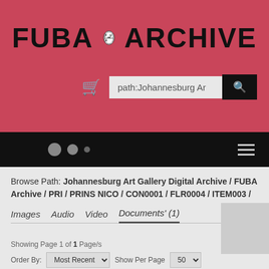[Figure (logo): FUBA Archive logo with emblem — large black text FUBA and ARCHIVE flanking an oval badge with stylized letters]
path:Johannesburg Ar
Browse Path: Johannesburg Art Gallery Digital Archive / FUBA Archive / PRI / PRINS NICO / CON0001 / FLR0004 / ITEM003 /
Images   Audio   Video   Documents' (1)
Showing Page 1 of 1 Page/s
Order By:   Most Recent   Show Per Page   50